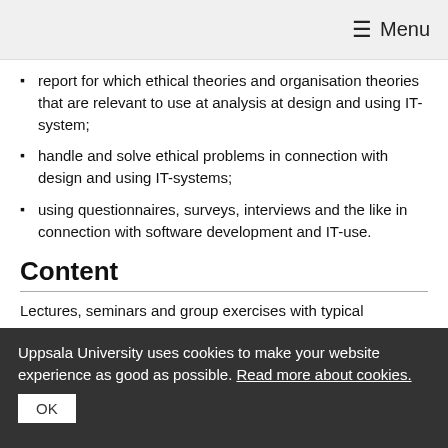☰ Menu
report for which ethical theories and organisation theories that are relevant to use at analysis at design and using IT-system;
handle and solve ethical problems in connection with design and using IT-systems;
using questionnaires, surveys, interviews and the like in connection with software development and IT-use.
Content
Lectures, seminars and group exercises with typical
Uppsala University uses cookies to make your website experience as good as possible. Read more about cookies.